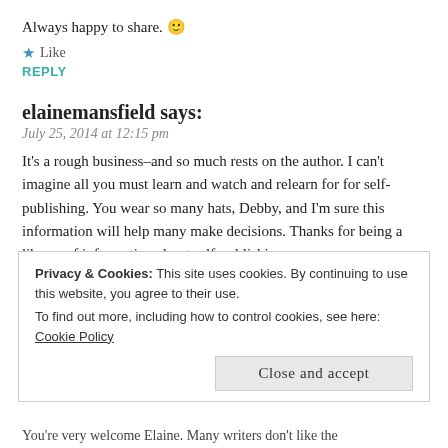Always happy to share. 🙂
★ Like
REPLY
elainemansfield says:
July 25, 2014 at 12:15 pm
It's a rough business–and so much rests on the author. I can't imagine all you must learn and watch and relearn for for self-publishing. You wear so many hats, Debby, and I'm sure this information will help many make decisions. Thanks for being a library of information about self-publishing.
Privacy & Cookies: This site uses cookies. By continuing to use this website, you agree to their use.
To find out more, including how to control cookies, see here: Cookie Policy
Close and accept
You're very welcome Elaine. Many writers don't like the